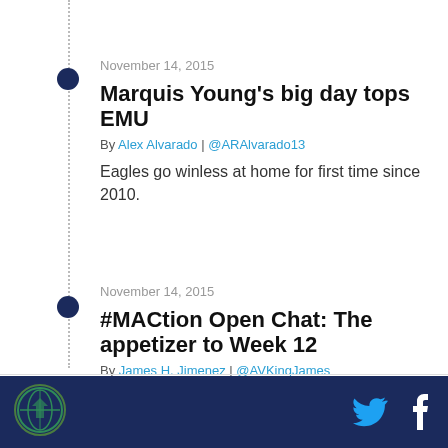November 14, 2015
Marquis Young's big day tops EMU
By Alex Alvarado | @ARAlvarado13
Eagles go winless at home for first time since 2010.
November 14, 2015
#MACtion Open Chat: The appetizer to Week 12
By James H. Jimenez | @AVKingJames
The records aren't great, but damn it all, there's still #MACtion today,and that is a #blessing.
November 14, 2015